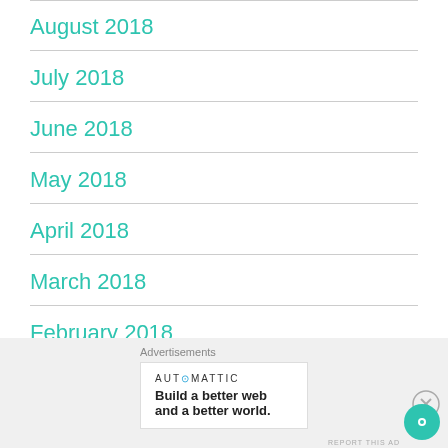August 2018
July 2018
June 2018
May 2018
April 2018
March 2018
February 2018
Advertisements
AUT⊙MATTIC
Build a better web and a better world.